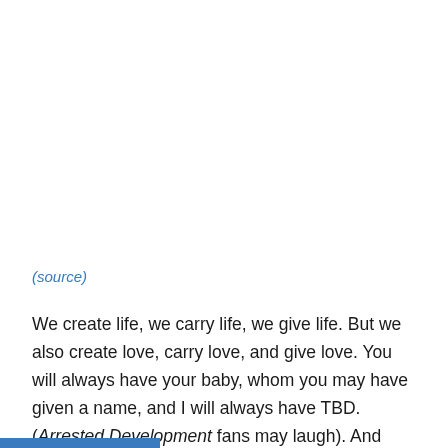(source)
We create life, we carry life, we give life. But we also create love, carry love, and give love. You will always have your baby, whom you may have given a name, and I will always have TBD. (Arrested Development fans may laugh). And there will always be love for those babies. I cried on April 13th. I